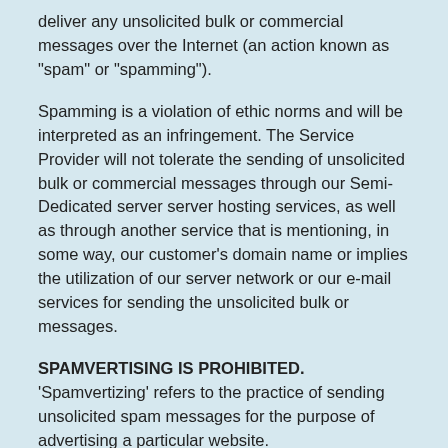deliver any unsolicited bulk or commercial messages over the Internet (an action known as "spam" or "spamming").
Spamming is a violation of ethic norms and will be interpreted as an infringement. The Service Provider will not tolerate the sending of unsolicited bulk or commercial messages through our Semi-Dedicated server server hosting services, as well as through another service that is mentioning, in some way, our customer's domain name or implies the utilization of our server network or our e-mail services for sending the unsolicited bulk or messages.
SPAMVERTISING IS PROHIBITED. 'Spamvertizing' refers to the practice of sending unsolicited spam messages for the purpose of advertising a particular website.
If such e-mails are relayed through 3rd party (e-mail spoofing) and/or are promoting a domain hosted on our servers, this will lead to immediate account suspension unless an evidence of legitimacy for non-involvement of the domain owner in the